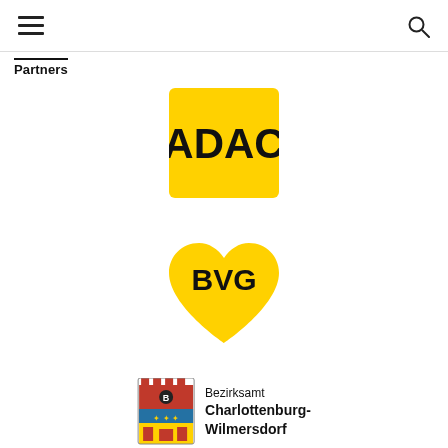Partners
[Figure (logo): ADAC logo — yellow square with bold black text 'ADAC']
[Figure (logo): BVG logo — yellow heart shape with bold black text 'BVG']
[Figure (logo): Bezirksamt Charlottenburg-Wilmersdorf logo — red and yellow coat of arms with text 'Bezirksamt Charlottenburg-Wilmersdorf']